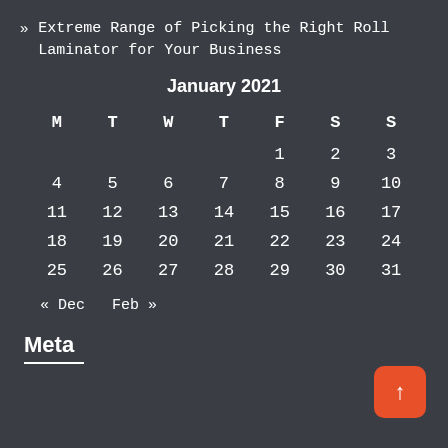» Extreme Range of Picking the Right Roll Laminator for Your Business
| M | T | W | T | F | S | S |
| --- | --- | --- | --- | --- | --- | --- |
|  |  |  |  | 1 | 2 | 3 |
| 4 | 5 | 6 | 7 | 8 | 9 | 10 |
| 11 | 12 | 13 | 14 | 15 | 16 | 17 |
| 18 | 19 | 20 | 21 | 22 | 23 | 24 |
| 25 | 26 | 27 | 28 | 29 | 30 | 31 |
« Dec  Feb »
Meta